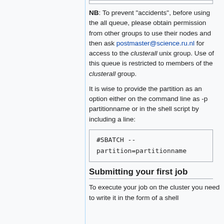NB: To prevent "accidents", before using the all queue, please obtain permission from other groups to use their nodes and then ask postmaster@science.ru.nl for access to the clusterall unix group. Use of this queue is restricted to members of the clusterall group.
It is wise to provide the partition as an option either on the command line as -p partitionname or in the shell script by including a line:
#SBATCH --partition=partitionname
Submitting your first job
To execute your job on the cluster you need to write it in the form of a shell